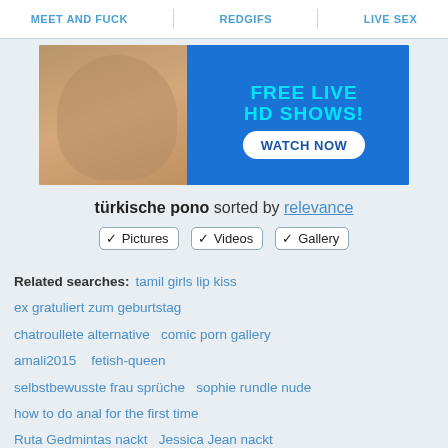MEET AND FUCK   REDGIFS   LIVE SEX
[Figure (photo): Advertisement banner showing a woman and text 'FREE LIVE HD SHOWS! WATCH NOW' on blue background]
türkische pono sorted by relevance
✓ Pictures   ✓ Videos   ✓ Gallery
Related searches: tamil girls lip kiss ex gratuliert zum geburtstag chatroullete alternative   comic porn gallery amali2015   fetish-queen selbstbewusste frau sprüche   sophie rundle nude how to do anal for the first time Ruta Gedmintas nackt   Jessica Jean nackt Wendy Pen Fuck...